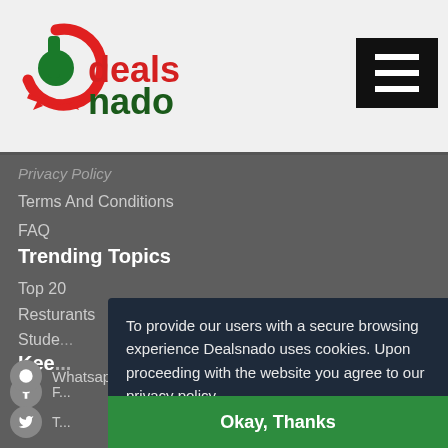[Figure (logo): Dealsnado logo — stylized 'd' in red and green with text 'dealsnado' in red and dark green]
Privacy Policy
Terms And Conditions
FAQ
Trending Topics
Top 20
Resturants
Stude...
Kee...
To provide our users with a secure browsing experience Dealsnado uses cookies. Upon proceeding with the website you agree to our privacy policy.
Okay, Thanks
Whatsapp